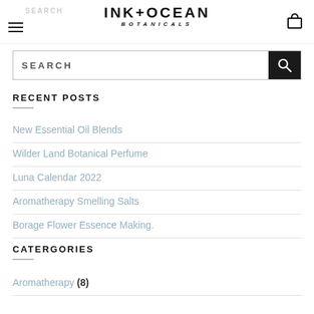INK+OCEAN BOTANICALS
RECENT POSTS
New Essential Oil Blends
Wilder Land Botanical Perfume
Luna Calendar 2022
Aromatherapy Smelling Salts
Borage Flower Essence Making.
CATERGORIES
Aromatherapy (8)